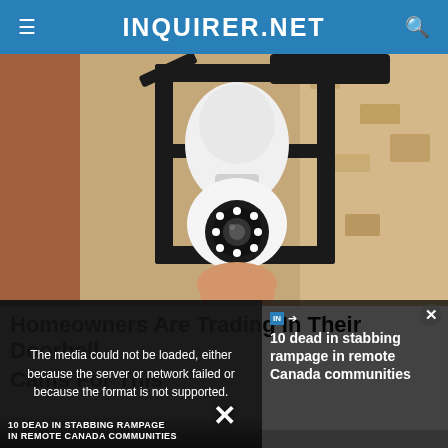INQUIRER.NET
[Figure (photo): A security camera shaped like a light bulb installed in a black outdoor lantern fixture mounted on a textured beige/tan stucco wall]
Homeowners Are Trading In Their Doorbell Cams For This
[Figure (screenshot): A video player overlay showing an error message: 'The media could not be loaded, either because the server or network failed or because the format is not supported.' with a news thumbnail about '10 dead in stabbing rampage in remote Canada communities' and text '10 DEAD IN STABBING RAMPAGE IN REMOTE CANADA COMMUNITIES' at the bottom left]
10 dead in stabbing rampage in remote Canada communities